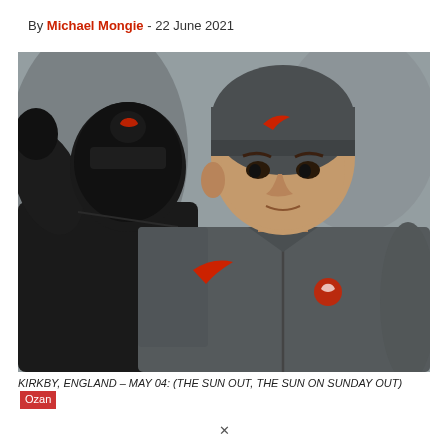By Michael Mongie - 22 June 2021
[Figure (photo): Two Liverpool FC players in grey Nike training gear and dark beanies walking outdoors in Kirkby, England. The foreground player wears a grey Nike beanie and grey zip-up jacket with red Liverpool FC logo. A second player behind wears an all-black outfit with a black balaclava and black beanie showing a red Liverpool logo.]
KIRKBY, ENGLAND – MAY 04: (THE SUN OUT, THE SUN ON SUNDAY OUT) Ozan